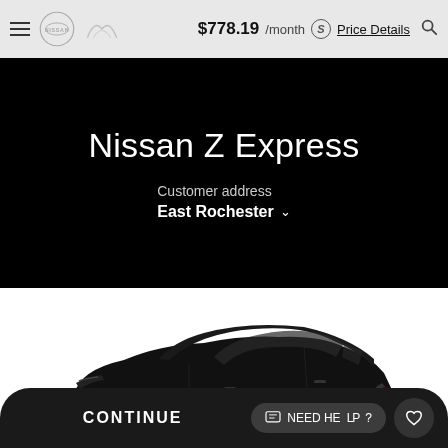$778.19 /month  Price Details
Nissan Z Express
Customer address
East Rochester
MODEL INFO   Model 41013
[Figure (photo): Side profile of a black Nissan Z sports car on a white background]
CONTINUE   NEED HELP?